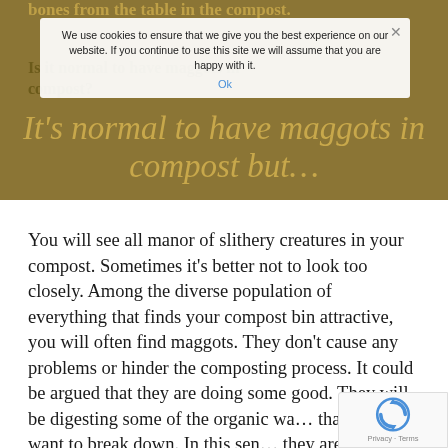bones from the table in the compost.
We use cookies to ensure that we give you the best experience on our website. If you continue to use this site we will assume that you are happy with it. Ok
Is it normal to have maggots in compost?
It’s normal to have maggots in compost but…
You will see all manor of slithery creatures in your compost. Sometimes it’s better not to look too closely. Among the diverse population of everything that finds your compost bin attractive, you will often find maggots. They don’t cause any problems or hinder the composting process. It could be argued that they are doing some good. They will be digesting some of the organic wa… that you want to break down. In this sen… they are as useful as worms.